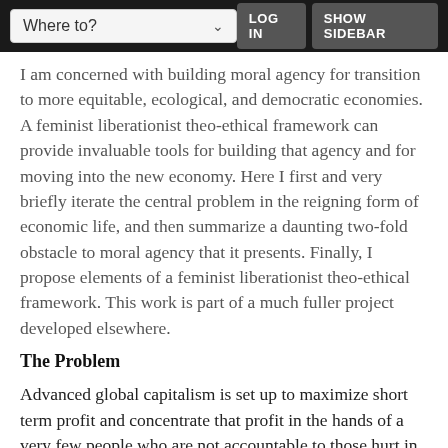Where to? | LOG IN | SHOW SIDEBAR
I am concerned with building moral agency for transition to more equitable, ecological, and democratic economies. A feminist liberationist theo-ethical framework can provide invaluable tools for building that agency and for moving into the new economy. Here I first and very briefly iterate the central problem in the reigning form of economic life, and then summarize a daunting two-fold obstacle to moral agency that it presents. Finally, I propose elements of a feminist liberationist theo-ethical framework. This work is part of a much fuller project developed elsewhere.
The Problem
Advanced global capitalism is set up to maximize short term profit and concentrate that profit in the hands of a very few people who are not accountable to those hurt in the process, or to any body politic. The consequences of